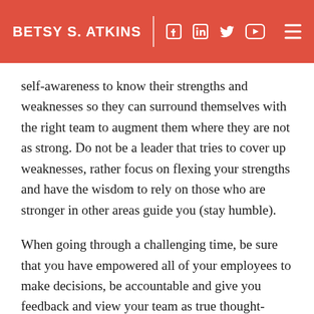BETSY S. ATKINS
self-awareness to know their strengths and weaknesses so they can surround themselves with the right team to augment them where they are not as strong. Do not be a leader that tries to cover up weaknesses, rather focus on flexing your strengths and have the wisdom to rely on those who are stronger in other areas guide you (stay humble).
When going through a challenging time, be sure that you have empowered all of your employees to make decisions, be accountable and give you feedback and view your team as true thought-